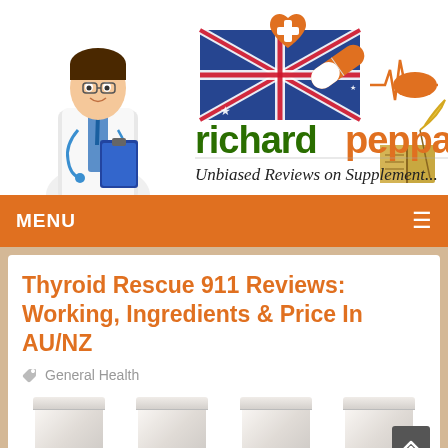[Figure (logo): Richard Peppard website header logo with doctor illustration, Australian flag, heart with plus sign, medical cross symbols, heartbeat line graphic, open book illustration, and text 'richardpeppard' in green/orange colors with tagline 'Unbiased Reviews on Supplement...']
MENU
Thyroid Rescue 911 Reviews: Working, Ingredients & Price In AU/NZ
General Health
[Figure (photo): Four white supplement/vitamin bottles shown in a row at the bottom of the page, partially cut off]